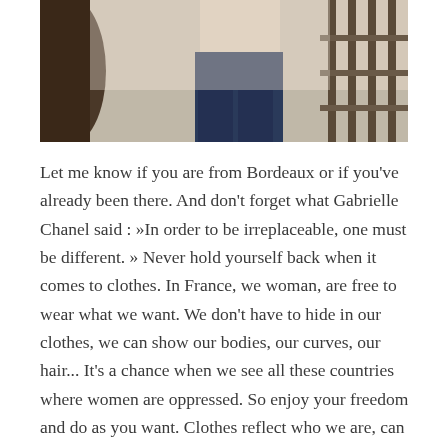[Figure (photo): A person standing outdoors near a large barrel/post on the left and metal railing bars on the right, wearing a light top and dark jeans]
Let me know if you are from Bordeaux or if you've already been there. And don't forget what Gabrielle Chanel said : »In order to be irreplaceable, one must be different. » Never hold yourself back when it comes to clothes. In France, we woman, are free to wear what we want. We don't have to hide in our clothes, we can show our bodies, our curves, our hair... It's a chance when we see all these countries where women are oppressed. So enjoy your freedom and do as you want. Clothes reflect who we are, can help us to feel more confident. Anyway, I hope you are enjoying your Summer, I talk to you very soon!